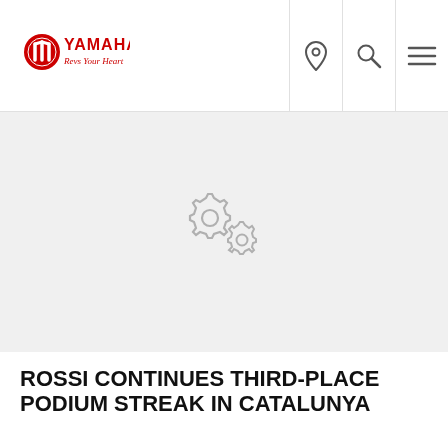YAMAHA - Revs Your Heart
[Figure (illustration): Two interlocking grey gear icons on a light grey background, indicating loading or processing state]
ROSSI CONTINUES THIRD-PLACE PODIUM STREAK IN CATALUNYA